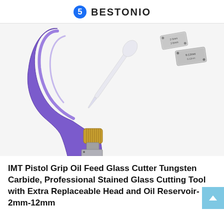BESTONIO
[Figure (photo): Product photo of IMT Pistol Grip Oil Feed Glass Cutter showing a purple translucent pistol-grip handle with gold metal fitting, a silver tungsten carbide cutting head labeled 2-5mm, a clear plastic dropper/pipette, and two additional replacement cutting heads (one labeled 2-5mm and one labeled 6-12mm) on a white background.]
IMT Pistol Grip Oil Feed Glass Cutter Tungsten Carbide, Professional Stained Glass Cutting Tool with Extra Replaceable Head and Oil Reservoir-2mm-12mm